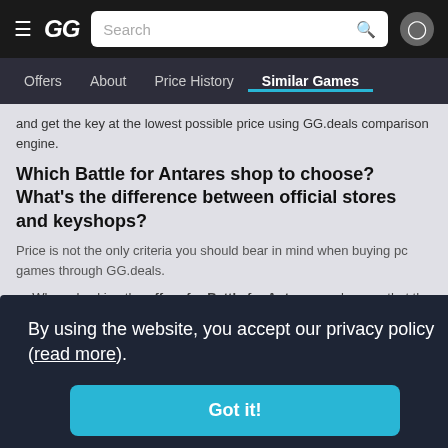GG.deals navigation bar with hamburger menu, GG logo, search bar, and user icon
Offers | About | Price History | Similar Games (active)
and get the key at the lowest possible price using GG.deals comparison engine.
Which Battle for Antares shop to choose? What's the difference between official stores and keyshops?
Price is not the only criteria you should bear in mind when buying pc games through GG.deals.
When checking the offers for Battle for Antares, make sure that the key is activated through the DRM of your choice. You will find this information on the game card in the form of a launcher icon. For example, if you want the shop the the es. The ere are llers
By using the website, you accept our privacy policy (read more).
Got it!